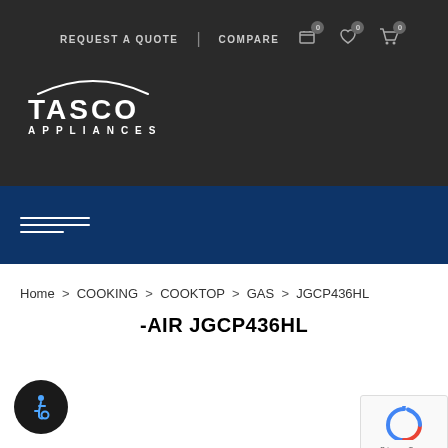REQUEST A QUOTE  COMPARE  0  0  0
[Figure (logo): Tasco Appliances logo with arc graphic above the word TASCO in bold white text and APPLIANCES in smaller spaced white text, on dark background]
[Figure (other): Hamburger menu icon (three white horizontal lines) on dark blue navigation bar]
Home > COOKING > COOKTOP > GAS > JGCP436HL
-AIR JGCP436HL